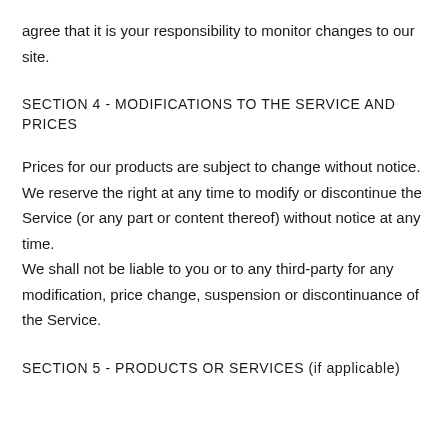agree that it is your responsibility to monitor changes to our site.
SECTION 4 - MODIFICATIONS TO THE SERVICE AND PRICES
Prices for our products are subject to change without notice.
We reserve the right at any time to modify or discontinue the Service (or any part or content thereof) without notice at any time.
We shall not be liable to you or to any third-party for any modification, price change, suspension or discontinuance of the Service.
SECTION 5 - PRODUCTS OR SERVICES (if applicable)